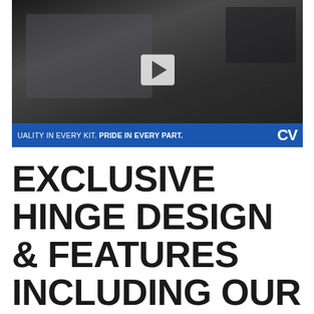[Figure (screenshot): Video thumbnail showing a mechanic holding a metal hinge bracket component over a car engine bay. A blue bar at the bottom reads 'UALITY IN EVERY KIT. PRIDE IN EVERY PART.' with a 'CV' logo on the right. A play button is visible in the center.]
EXCLUSIVE HINGE DESIGN & FEATURES INCLUDING OUR 6-AXIS ADJUSTABILITY.